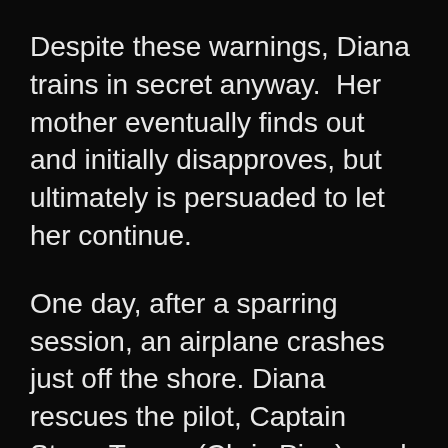Despite these warnings, Diana trains in secret anyway.  Her mother eventually finds out and initially disapproves, but ultimately is persuaded to let her continue.
One day, after a sparring session, an airplane crashes just off the shore.  Diana rescues the pilot, Captain Steve Trevor (Chris Pine), and the Amazons defeat the German forces pursuing him, but General Antiope is killed in the battle.